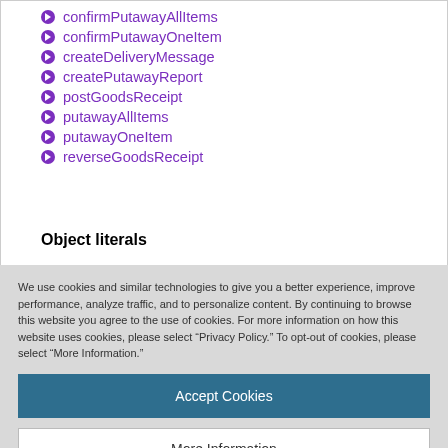confirmPutawayAllItems
confirmPutawayOneItem
createDeliveryMessage
createPutawayReport
postGoodsReceipt
putawayAllItems
putawayOneItem
reverseGoodsReceipt
Object literals
We use cookies and similar technologies to give you a better experience, improve performance, analyze traffic, and to personalize content. By continuing to browse this website you agree to the use of cookies. For more information on how this website uses cookies, please select “Privacy Policy.” To opt-out of cookies, please select “More Information.”
Accept Cookies
More Information
Privacy Policy | Powered by: TrustArc
confirmPutawayAllItems